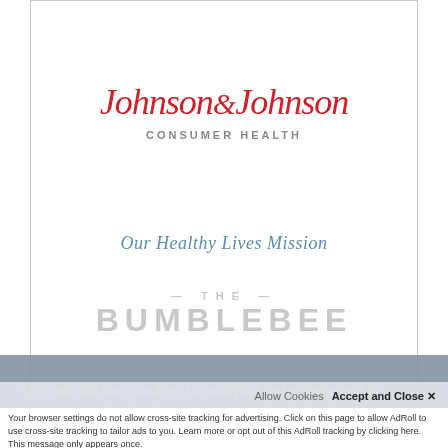[Figure (logo): Johnson & Johnson Consumer Health logo — red script wordmark with gray 'CONSUMER HEALTH' subtitle]
Our Healthy Lives Mission
[Figure (other): Watermark text reading THE BUMBLEBEE in light gray]
This website uses cookies for analytics, advertising and to improve our site. We'll assume you're ok with this, but you
Allow Cookies
Accept and Close ✕
Your browser settings do not allow cross-site tracking for advertising. Click on this page to allow AdRoll to use cross-site tracking to tailor ads to you. Learn more or opt out of this AdRoll tracking by clicking here. This message only appears once.